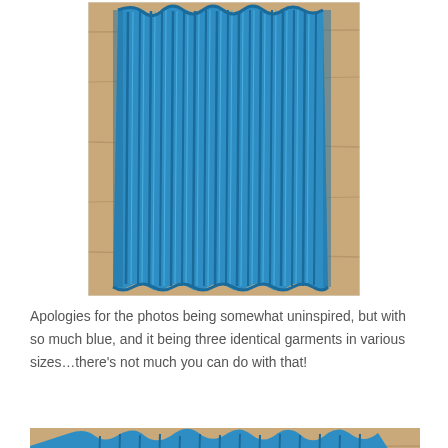[Figure (photo): Close-up photograph of a blue ribbed knitted garment, laid flat on a light wood surface. The garment shows prominent vertical ribbing texture in teal/cerulean blue yarn, with wavy edges visible.]
Apologies for the photos being somewhat uninspired, but with so much blue, and it being three identical garments in various sizes...there's not much you can do with that!
[Figure (photo): Partial photograph showing a blue knitted garment laid flat on a light wood surface, with a scalloped or wavy bottom edge visible at the top, and the garment extending below the frame.]